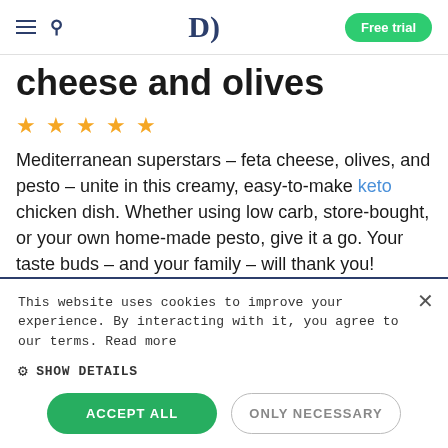Diet Doctor — Free trial
cheese and olives
★★★★★
Mediterranean superstars – feta cheese, olives, and pesto – unite in this creamy, easy-to-make keto chicken dish. Whether using low carb, store-bought, or your own home-made pesto, give it a go. Your taste buds – and your family – will thank you!
This website uses cookies to improve your experience. By interacting with it, you agree to our terms. Read more
⚙ SHOW DETAILS
ACCEPT ALL   ONLY NECESSARY